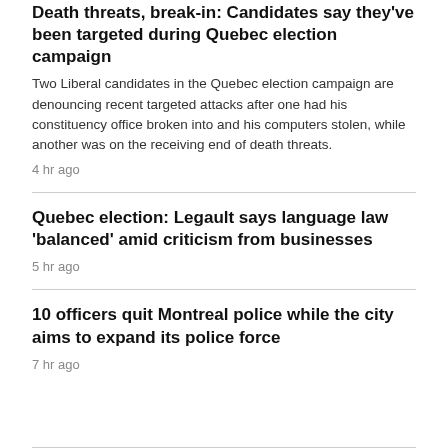Death threats, break-in: Candidates say they've been targeted during Quebec election campaign
Two Liberal candidates in the Quebec election campaign are denouncing recent targeted attacks after one had his constituency office broken into and his computers stolen, while another was on the receiving end of death threats.
4 hr ago
Quebec election: Legault says language law 'balanced' amid criticism from businesses
5 hr ago
10 officers quit Montreal police while the city aims to expand its police force
7 hr ago